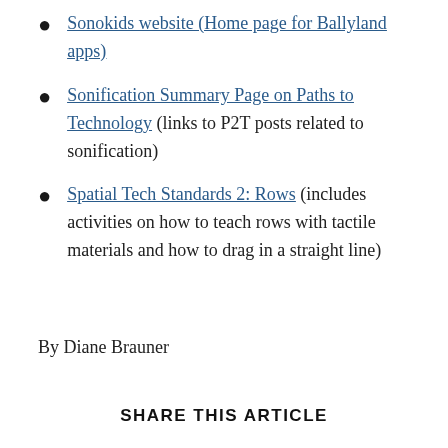Sonokids website (Home page for Ballyland apps)
Sonification Summary Page on Paths to Technology (links to P2T posts related to sonification)
Spatial Tech Standards 2: Rows (includes activities on how to teach rows with tactile materials and how to drag in a straight line)
By Diane Brauner
SHARE THIS ARTICLE